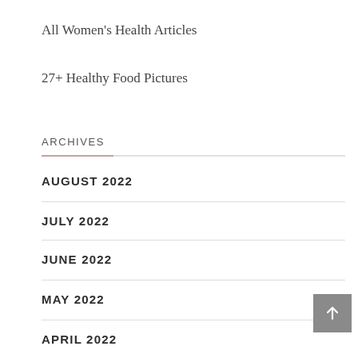All Women's Health Articles
27+ Healthy Food Pictures
ARCHIVES
AUGUST 2022
JULY 2022
JUNE 2022
MAY 2022
APRIL 2022